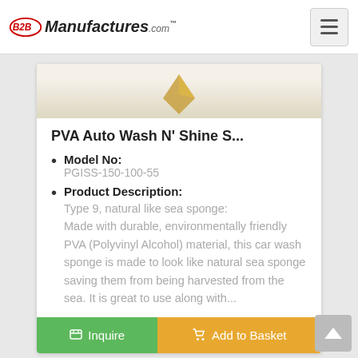B2BManufactures.com
[Figure (photo): Product image of PVA Auto Wash N' Shine Sponge, partially visible at top of card]
PVA Auto Wash N' Shine S...
Model No: PGISS-150-100-55
Product Description: Type 9, natural like sea sponge: Made with durable, environmentally friendly PVA (Polyvinyl Alcohol) material, this car wash sponge is made to look like natural sea sponge saving them from being harvested from the sea. It is great to use along with...